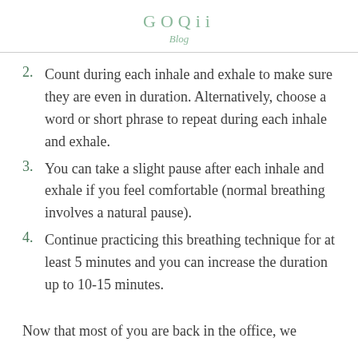GOQii
Blog
2. Count during each inhale and exhale to make sure they are even in duration. Alternatively, choose a word or short phrase to repeat during each inhale and exhale.
3. You can take a slight pause after each inhale and exhale if you feel comfortable (normal breathing involves a natural pause).
4. Continue practicing this breathing technique for at least 5 minutes and you can increase the duration up to 10-15 minutes.
Now that most of you are back in the office, we